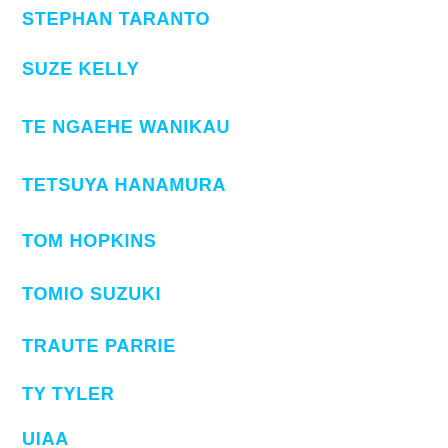STEPHAN TARANTO
SUZE KELLY
TE NGAEHE WANIKAU
TETSUYA HANAMURA
TOM HOPKINS
TOMIO SUZUKI
TRAUTE PARRIE
TY TYLER
UIAA